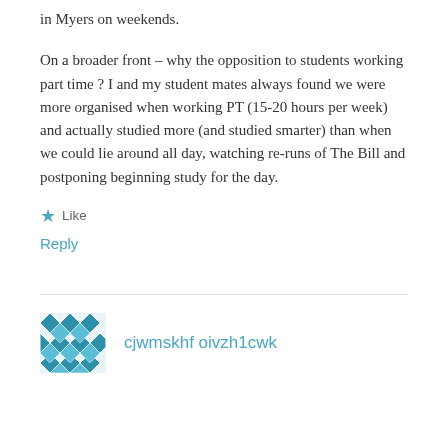in Myers on weekends.
On a broader front – why the opposition to students working part time ? I and my student mates always found we were more organised when working PT (15-20 hours per week) and actually studied more (and studied smarter) than when we could lie around all day, watching re-runs of The Bill and postponing beginning study for the day.
★ Like
Reply
cjwmskhf oivzh1cwk